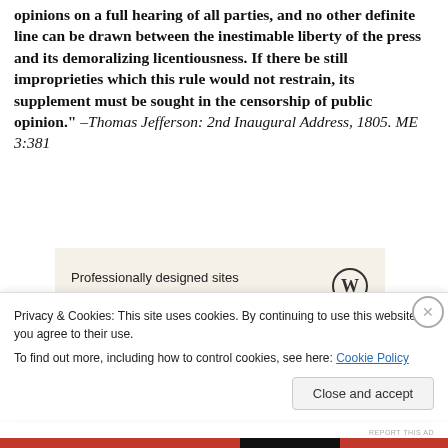opinions on a full hearing of all parties, and no other definite line can be drawn between the inestimable liberty of the press and its demoralizing licentiousness. If there be still improprieties which this rule would not restrain, its supplement must be sought in the censorship of public opinion." –Thomas Jefferson: 2nd Inaugural Address, 1805. ME 3:381
[Figure (other): WordPress advertisement banner: 'Professionally designed sites in less than a week' with WordPress logo]
"The functionaries of every government have...
Privacy & Cookies: This site uses cookies. By continuing to use this website, you agree to their use.
To find out more, including how to control cookies, see here: Cookie Policy
Close and accept